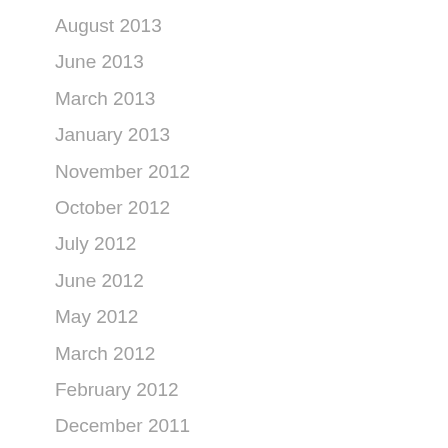August 2013
June 2013
March 2013
January 2013
November 2012
October 2012
July 2012
June 2012
May 2012
March 2012
February 2012
December 2011
October 2011
September 2011
July 2011
June 2011
April 2011
March 2011
January 2011